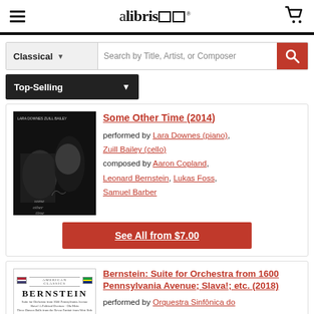alibris
Classical | Search by Title, Artist, or Composer
Top-Selling
Some Other Time (2014)
performed by Lara Downes (piano), Zuill Bailey (cello)
composed by Aaron Copland, Leonard Bernstein, Lukas Foss, Samuel Barber
See All from $7.00
Bernstein: Suite for Orchestra from 1600 Pennsylvania Avenue; Slava!; etc. (2018)
performed by Orquestra Sinfônica do